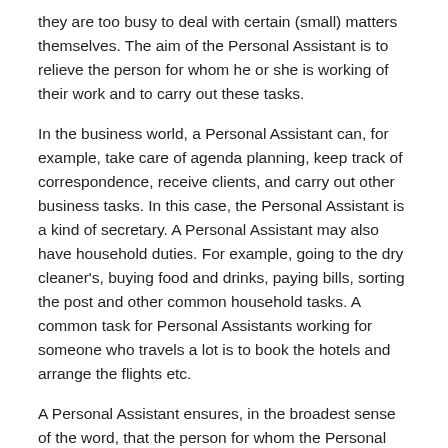they are too busy to deal with certain (small) matters themselves. The aim of the Personal Assistant is to relieve the person for whom he or she is working of their work and to carry out these tasks.
In the business world, a Personal Assistant can, for example, take care of agenda planning, keep track of correspondence, receive clients, and carry out other business tasks. In this case, the Personal Assistant is a kind of secretary. A Personal Assistant may also have household duties. For example, going to the dry cleaner's, buying food and drinks, paying bills, sorting the post and other common household tasks. A common task for Personal Assistants working for someone who travels a lot is to book the hotels and arrange the flights etc.
A Personal Assistant ensures, in the broadest sense of the word, that the person for whom the Personal Assistant is employed is able to function optimally and does not have to worry about the side issues. The Personal Assistant solves these.
Becoming a Personal